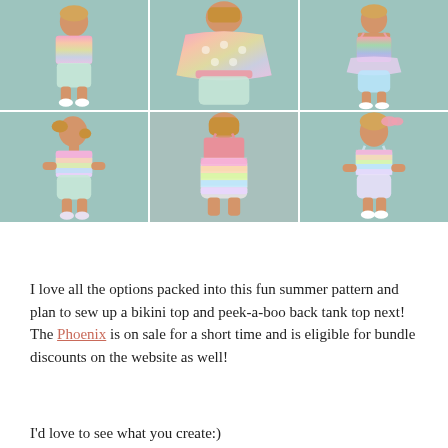[Figure (photo): Six photos of a young girl wearing a pastel rainbow tie-dye summer outfit (tank top and bloomers/shorts), shown from different angles — front, back, and side views in two rows of three photos each.]
I love all the options packed into this fun summer pattern and plan to sew up a bikini top and peek-a-boo back tank top next!  The Phoenix is on sale for a short time and is eligible for bundle discounts on the website as well!
I'd love to see what you create:)